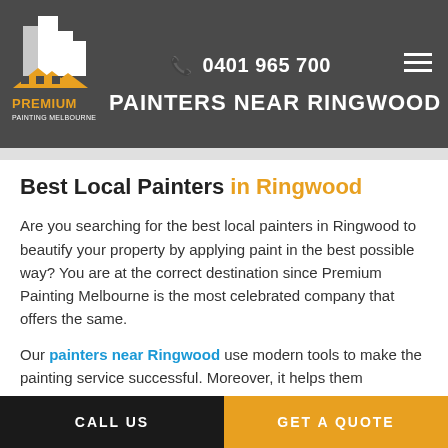0401 965 700
PAINTERS NEAR RINGWOOD
Best Local Painters in Ringwood
Are you searching for the best local painters in Ringwood to beautify your property by applying paint in the best possible way? You are at the correct destination since Premium Painting Melbourne is the most celebrated company that offers the same.
Our painters near Ringwood use modern tools to make the painting service successful. Moreover, it helps them
CALL US | GET A QUOTE